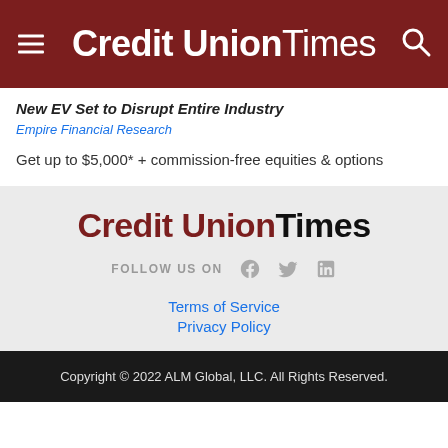Credit Union Times
New EV Set to Disrupt Entire Industry
Empire Financial Research
Get up to $5,000* + commission-free equities & options
[Figure (logo): Credit Union Times logo in dark red and black text]
FOLLOW US ON
Terms of Service
Privacy Policy
Copyright © 2022 ALM Global, LLC. All Rights Reserved.